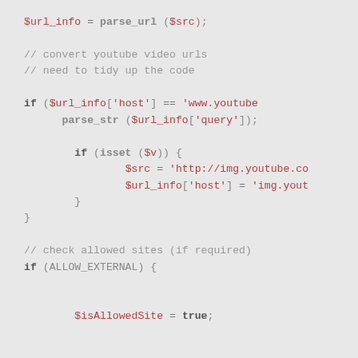$url_info = parse_url ($src);

// convert youtube video urls
// need to tidy up the code

if ($url_info['host'] == 'www.youtube
    parse_str ($url_info['query']);

        if (isset ($v)) {
                $src = 'http://img.youtube.co
                $url_info['host'] = 'img.yout
        }
}

// check allowed sites (if required)
if (ALLOW_EXTERNAL) {


        $isAllowedSite = true;